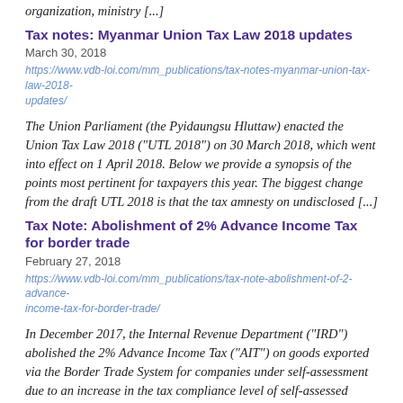organization, ministry [...]
Tax notes: Myanmar Union Tax Law 2018 updates
March 30, 2018
https://www.vdb-loi.com/mm_publications/tax-notes-myanmar-union-tax-law-2018-updates/
The Union Parliament (the Pyidaungsu Hluttaw) enacted the Union Tax Law 2018 (“UTL 2018”) on 30 March 2018, which went into effect on 1 April 2018. Below we provide a synopsis of the points most pertinent for taxpayers this year. The biggest change from the draft UTL 2018 is that the tax amnesty on undisclosed [...]
Tax Note: Abolishment of 2% Advance Income Tax for border trade
February 27, 2018
https://www.vdb-loi.com/mm_publications/tax-note-abolishment-of-2-advance-income-tax-for-border-trade/
In December 2017, the Internal Revenue Department (“IRD”) abolished the 2% Advance Income Tax (“AIT”) on goods exported via the Border Trade System for companies under self-assessment due to an increase in the tax compliance level of self-assessed taxpayers. Currently, only the Large Taxpayers’ Office (“LTO”) and